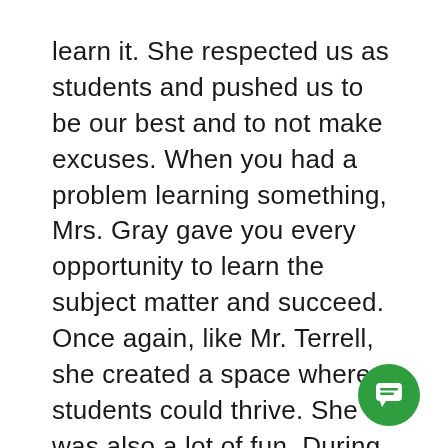learn it. She respected us as students and pushed us to be our best and to not make excuses. When you had a problem learning something, Mrs. Gray gave you every opportunity to learn the subject matter and succeed. Once again, like Mr. Terrell, she created a space where students could thrive. She was also a lot of fun. During Spirit Week she dressed up every day, camouflage, hippie clothing, tie dye, she didn’t miss a beat. I can still see her bell bottom jeans, leather fringe vest and headband while she handed us back our tests.
Because I started school early, I was 16 my senior year. Often times I felt the anxiety that many students face in school. But my best teachers were so much more than teachers. They were my
[Figure (other): Green circular chat/message button icon in the bottom-right corner]